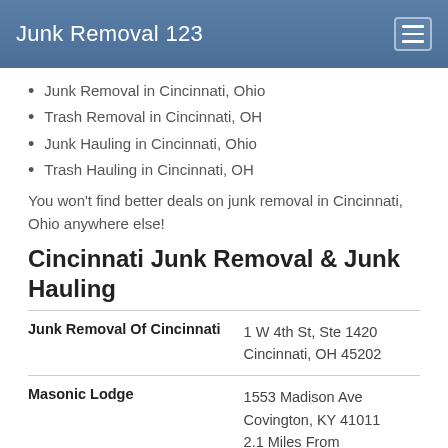Junk Removal 123
Junk Removal in Cincinnati, Ohio
Trash Removal in Cincinnati, OH
Junk Hauling in Cincinnati, Ohio
Trash Hauling in Cincinnati, OH
You won't find better deals on junk removal in Cincinnati, Ohio anywhere else!
Cincinnati Junk Removal & Junk Hauling
| Name | Address |
| --- | --- |
| Junk Removal Of Cincinnati | 1 W 4th St, Ste 1420
Cincinnati, OH 45202 |
| Masonic Lodge | 1553 Madison Ave
Covington, KY 41011
2.1 Miles From Cincinnati, OH |